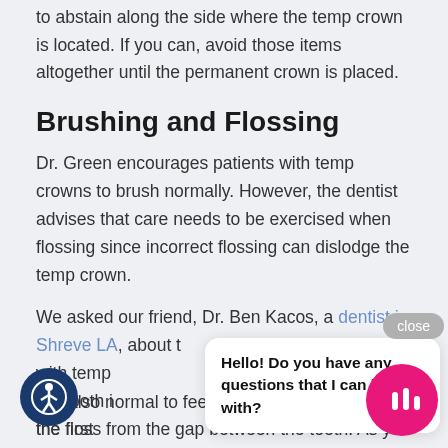to abstain along the side where the temp crown is located. If you can, avoid those items altogether until the permanent crown is placed.
Brushing and Flossing
Dr. Green encourages patients with temp crowns to brush normally. However, the dentist advises that care needs to be exercised when flossing since incorrect flossing can dislodge the temp crown.
We asked our friend, Dr. Ben Kacos, a dentist in Shreveport, LA, about the floss from the gap between the teeth. As you lift the floss, you could accidentally lift the temp crown too!
It is also normal to feel some tooth sensitivity in the first